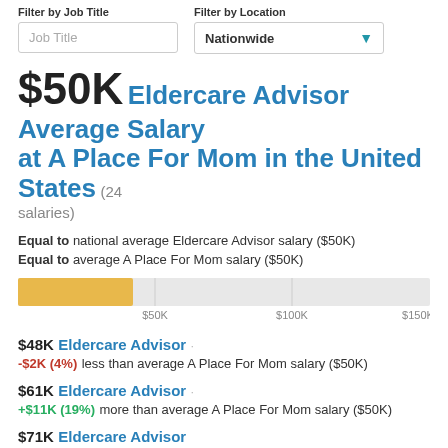Filter by Job Title | Filter by Location
$50K Eldercare Advisor Average Salary at A Place For Mom in the United States (24 salaries)
Equal to national average Eldercare Advisor salary ($50K)
Equal to average A Place For Mom salary ($50K)
[Figure (bar-chart): Salary bar]
$48K Eldercare Advisor · -$2K (4%) less than average A Place For Mom salary ($50K)
$61K Eldercare Advisor · +$11K (19%) more than average A Place For Mom salary ($50K)
$71K Eldercare Advisor